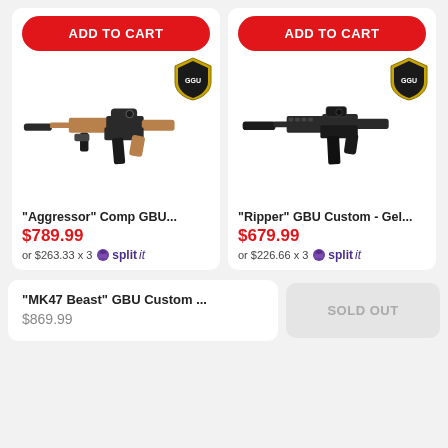[Figure (screenshot): E-commerce product listing page showing two gel blaster rifle products side by side with ADD TO CART buttons, product images, prices, and Splitit payment options, plus a third sold-out product below.]
"Aggressor" Comp GBU...
$789.99
or $263.33 x 3  splitit
"Ripper" GBU Custom - Gel...
$679.99
or $226.66 x 3  splitit
"MK47 Beast" GBU Custom ...
$869.99